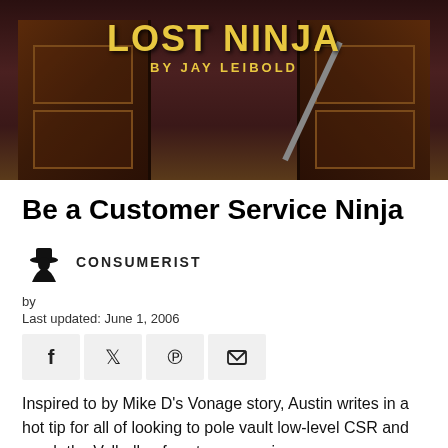[Figure (photo): Book cover image for 'Lost Ninja by Jay Leibold' showing dark wooden doors and a staff/weapon, with golden title text on dark background]
Be a Customer Service Ninja
[Figure (logo): Consumerist logo: silhouette of a person in a hat next to the text CONSUMERIST]
by
Last updated: June 1, 2006
[Figure (infographic): Social share buttons row: Facebook (f), Twitter (bird), Pinterest (P), Email (envelope)]
Inspired to by Mike D's Vonage story, Austin writes in a hot tip for all of looking to pole vault low-level CSR and reach the Valhalla of customer service.